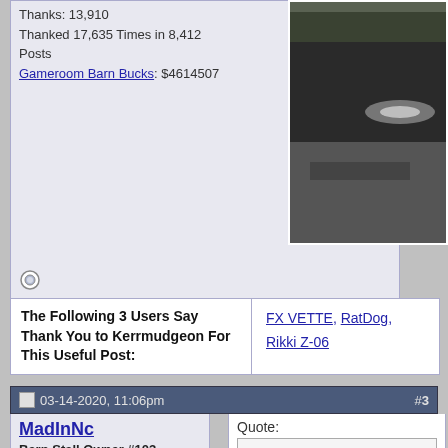Thanks: 13,910
Thanked 17,635 Times in 8,412 Posts
Gameroom Barn Bucks: $4614507
[Figure (photo): Bottom of a dark car on asphalt, partial view]
| The Following 3 Users Say Thank You to Kerrmudgeon For This Useful Post: | FX VETTE, RatDog, Rikki Z-06 |
| --- | --- |
03-14-2020, 11:06pm  #3
MadInNc
Barn Stall Owner #103
★★★★★
Points: 122,201, Level: 100
Activity: 88.1%
Quote:
Originally Posted by Kerrmudgeon